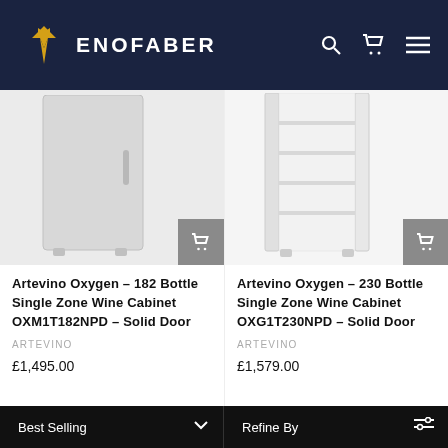ENOFABER
[Figure (photo): Artevino Oxygen 182 Bottle Single Zone Wine Cabinet OXM1T182NPD - Solid Door product image, tall silver refrigerator unit]
Artevino Oxygen - 182 Bottle Single Zone Wine Cabinet OXM1T182NPD - Solid Door
ARTEVINO
£1,495.00
[Figure (photo): Artevino Oxygen 230 Bottle Single Zone Wine Cabinet OXG1T230NPD - Solid Door product image, tall white wine cabinet with shelves visible]
Artevino Oxygen - 230 Bottle Single Zone Wine Cabinet OXG1T230NPD - Solid Door
ARTEVINO
£1,579.00
Best Selling   Refine By